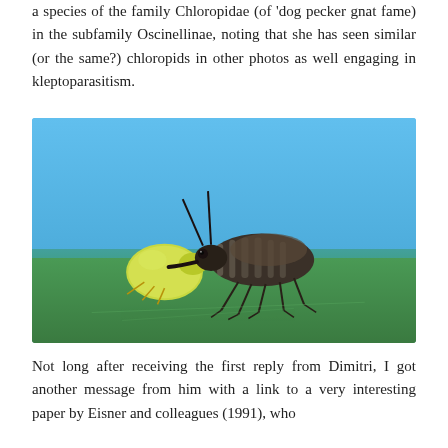a species of the family Chloropidae (of 'dog pecker gnat fame)  in the subfamily Oscinellinae, noting that she has seen similar (or the same?) chloropids in other photos as well engaging in kleptoparasitism.
[Figure (photo): Close-up macro photograph of a dark striped predatory bug (assassin bug) on a green leaf against a blue sky, holding a yellow-green aphid or similar insect in its beak/rostrum.]
Not long after receiving the first reply from Dimitri, I got another message from him with a link to a very interesting paper by Eisner and colleagues (1991), who